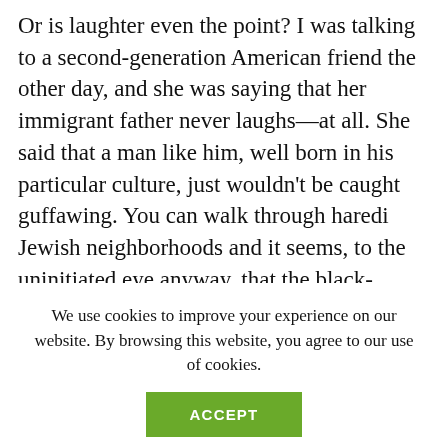Or is laughter even the point? I was talking to a second-generation American friend the other day, and she was saying that her immigrant father never laughs—at all. She said that a man like him, well born in his particular culture, just wouldn't be caught guffawing. You can walk through haredi Jewish neighborhoods and it seems, to the uninitiated eye anyway, that the black-hatters on the streets don't smile much, let alone laugh. Are their interior lives different—less humorful?—from the lives of urban
We use cookies to improve your experience on our website. By browsing this website, you agree to our use of cookies.
ACCEPT